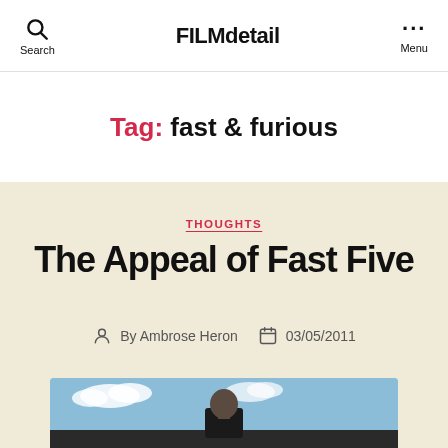FILMdetail — Search | Menu
Tag: fast & furious
THOUGHTS
The Appeal of Fast Five
By Ambrose Heron  03/05/2011
[Figure (photo): A bald man in a black jacket standing outdoors against a blue sky — appears to be a film still from Fast Five]